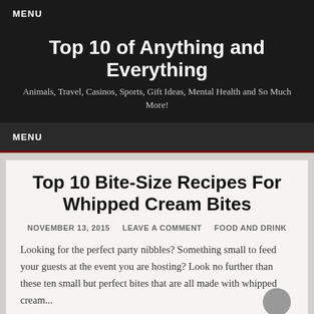MENU
Top 10 of Anything and Everything
Animals, Travel, Casinos, Sports, Gift Ideas, Mental Health and So Much More!
MENU
Top 10 Bite-Size Recipes For Whipped Cream Bites
NOVEMBER 13, 2015   LEAVE A COMMENT   FOOD AND DRINK
Looking for the perfect party nibbles? Something small to feed your guests at the event you are hosting? Look no further than these ten small but perfect bites that are all made with whipped cream...